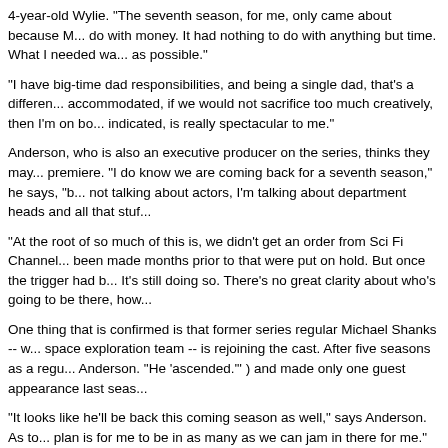4-year-old Wylie.  "The seventh season, for me, only came about because M... do with money. It had nothing to do with anything but time. What I needed wa... as possible."
"I have big-time dad responsibilities, and being a single dad, that's a differen... accommodated, if we would not sacrifice too much creatively, then I'm on bo... indicated, is really spectacular to me."
Anderson, who is also an executive producer on the series, thinks they may... premiere.  "I do know we are coming back for a seventh season," he says, "b... not talking about actors, I'm talking about department heads and all that stuf...
"At the root of so much of this is, we didn't get an order from Sci Fi Channel... been made months prior to that were put on hold.  But once the trigger had b... It's still doing so. There's no great clarity about who's going to be there, how...
One thing that is confirmed is that former series regular Michael Shanks -- w... space exploration team -- is rejoining the cast.   After five seasons as a regu... Anderson. "He 'ascended.'" ) and made only one guest appearance last seas...
"It looks like he'll be back this coming season as well," says Anderson.  As to... plan is for me to be in as many as we can jam in there for me."  This may me... think anyone's going to complain about that. All of the cast members love to...
Before his stint on "Stargate SG-1," Anderson was the star of the 1985-199... series that I've done that's gone seven years. I couldn't understand why then... on without me, but it was expressed that because my name was associated... pragmatic perspective on it. I love the people that I work with; I love the job; i... accounting for taste -- whatever I can do to help."
One thing Anderson won't be involved in is The WB's "Young MacGyver" se... secret agent.  "Friends from Paramount called," Anderson says, "and asked...